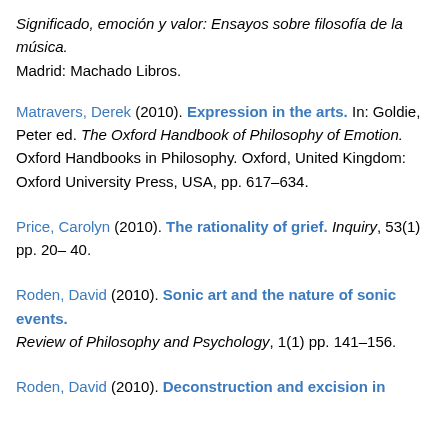Significado, emoción y valor: Ensayos sobre filosofía de la música. Madrid: Machado Libros.
Matravers, Derek (2010). Expression in the arts. In: Goldie, Peter ed. The Oxford Handbook of Philosophy of Emotion. Oxford Handbooks in Philosophy. Oxford, United Kingdom: Oxford University Press, USA, pp. 617–634.
Price, Carolyn (2010). The rationality of grief. Inquiry, 53(1) pp. 20–40.
Roden, David (2010). Sonic art and the nature of sonic events. Review of Philosophy and Psychology, 1(1) pp. 141–156.
Roden, David (2010). Deconstruction and excision in